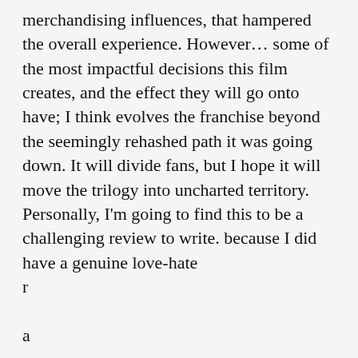merchandising influences, that hampered the overall experience. However… some of the most impactful decisions this film creates, and the effect they will go onto have; I think evolves the franchise beyond the seemingly rehashed path it was going down. It will divide fans, but I hope it will move the trilogy into uncharted territory. Personally, I'm going to find this to be a challenging review to write. because I did have a genuine love-hate r a
Privacy & Cookies: This site uses cookies. By continuing to use this website, you agree to their use. To find out more, including how to control cookies, see here: Cookie Policy
Close and accept